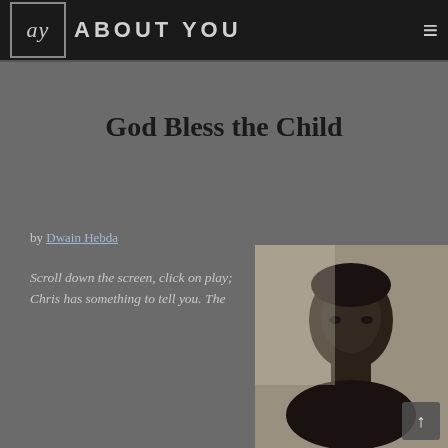ay ABOUT YOU
God Bless the Child
by Dwain Hebda
Scroll down the screen, click on play; Chris has something to tell you. The
[Figure (photo): Portrait photograph of a young Black man against a light background]